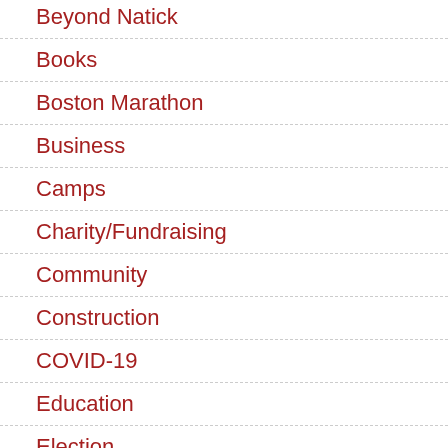Beyond Natick
Books
Boston Marathon
Business
Camps
Charity/Fundraising
Community
Construction
COVID-19
Education
Election